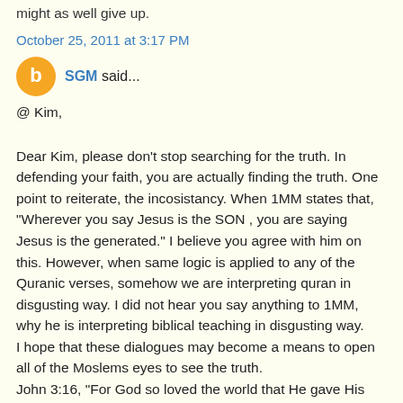might as well give up.
October 25, 2011 at 3:17 PM
SGM said...
@ Kim,
Dear Kim, please don't stop searching for the truth. In defending your faith, you are actually finding the truth. One point to reiterate, the incosistancy. When 1MM states that, "Wherever you say Jesus is the SON , you are saying Jesus is the generated." I believe you agree with him on this. However, when same logic is applied to any of the Quranic verses, somehow we are interpreting quran in disgusting way. I did not hear you say anything to 1MM, why he is interpreting biblical teaching in disgusting way.
I hope that these dialogues may become a means to open all of the Moslems eyes to see the truth.
John 3:16, "For God so loved the world that He gave His only begotten Son, that whoever believes in Him should not perish but have everlasting life." Come to the loving God and his Son to have eternal life.